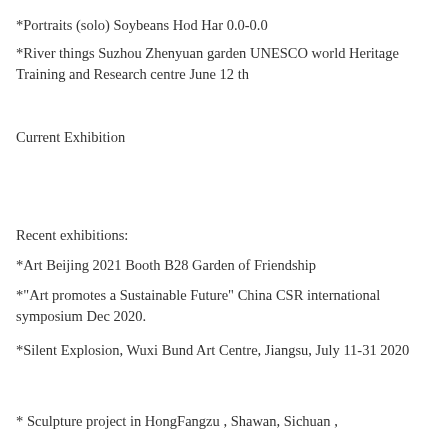*Portraits (solo) Soybeans  Hod  Har 0.0-0.0
*River things  Suzhou Zhenyuan garden UNESCO world Heritage Training and Research centre June 12 th
Current Exhibition
Recent  exhibitions:
*Art Beijing  2021 Booth B28  Garden of Friendship
*"Art promotes a Sustainable Future" China CSR international symposium Dec 2020.
*Silent Explosion, Wuxi Bund Art Centre, Jiangsu,  July 11-31 2020
* Sculpture project in HongFangzu , Shawan, Sichuan ,